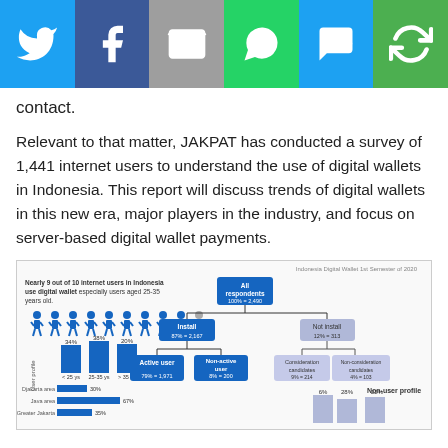[Figure (infographic): Social media sharing icons bar: Twitter (blue), Facebook (dark blue), Email (grey), WhatsApp (green), SMS (blue), Other/refresh (green)]
contact.
Relevant to that matter, JAKPAT has conducted a survey of 1,441 internet users to understand the use of digital wallets in Indonesia. This report will discuss trends of digital wallets in this new era, major players in the industry, and focus on server-based digital wallet payments.
[Figure (infographic): Indonesia Digital Wallet 1st Semester of 2020 infographic showing: Nearly 9 out of 10 internet users in Indonesia use digital wallet especially users aged 25-35 years old. User profile bar chart with age groups <25 ys (34%), 25-35 ys (38%), >35 ys (20%). Djakarta area 30%, Java area 67%, Greater Jakarta 35%. Flowchart: All respondents 100% = 2,490 -> Install 87% = 2,167 -> Active user 79% = 1,971, Non-active user 8% = 200. Not install 12% = 313 -> Consideration candidates 9% = 214, Non-consideration candidates 4% = 103. Non-user profile bar chart 6%, 28%, 22%. Meanwhile, people who do not use digital wallet is mostly younger age under 25 years old.]